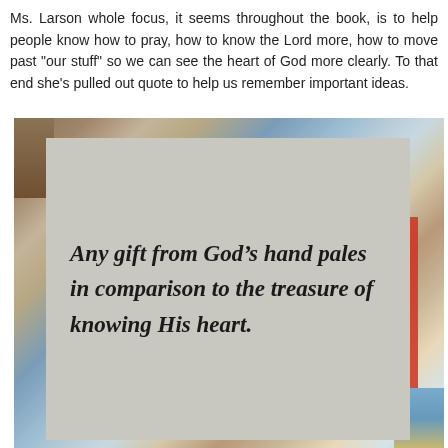Ms. Larson whole focus, it seems throughout the book, is to help people know how to pray, how to know the Lord more, how to move past "our stuff" so we can see the heart of God more clearly. To that end she's pulled out quote to help us remember important ideas.
[Figure (photo): A photograph of a painted abstract colorful background with a gray card/sign in the foreground displaying the italic quote: 'Any gift from God's hand pales in comparison to the treasure of knowing His heart.']